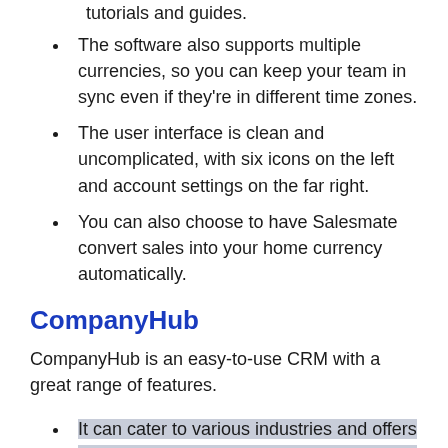tutorials and guides.
The software also supports multiple currencies, so you can keep your team in sync even if they're in different time zones.
The user interface is clean and uncomplicated, with six icons on the left and account settings on the far right.
You can also choose to have Salesmate convert sales into your home currency automatically.
CompanyHub
CompanyHub is an easy-to-use CRM with a great range of features.
It can cater to various industries and offers advanced marketing automation and email scheduling features.
It is also affordable, with a low monthly cost of $15